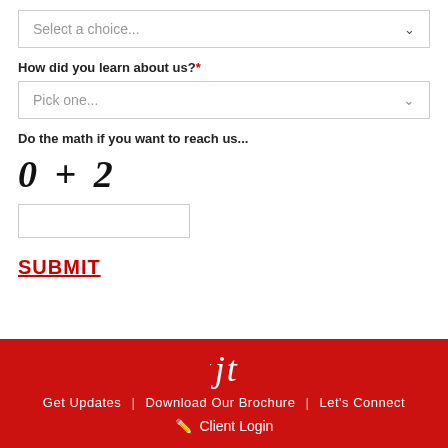Select a choice...
How did you learn about us?*
Pick one...
Do the math if you want to reach us...
SUBMIT
jt | Get Updates | Download Our Brochure | Let's Connect | Client Login